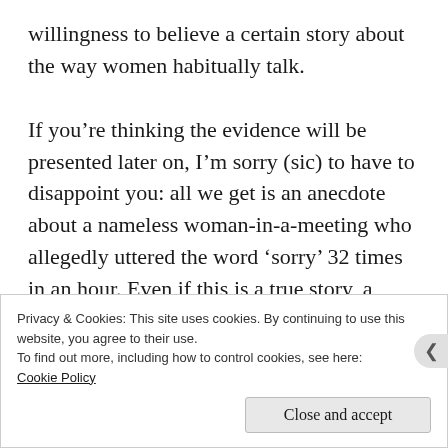willingness to believe a certain story about the way women habitually talk.

If you’re thinking the evidence will be presented later on, I’m sorry (sic) to have to disappoint you: all we get is an anecdote about a nameless woman-in-a-meeting who allegedly uttered the word ‘sorry’ 32 times in an hour. Even if this is a true story, a single individual is not a representative sample from which to draw general conclusions about half of
Privacy & Cookies: This site uses cookies. By continuing to use this website, you agree to their use.
To find out more, including how to control cookies, see here:
Cookie Policy
Close and accept